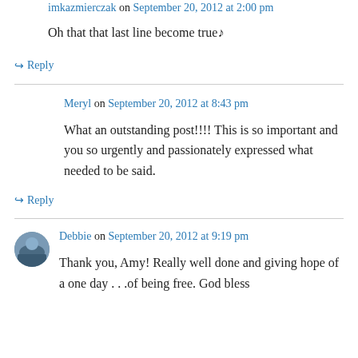imkazmierczak on September 20, 2012 at 2:00 pm
Oh that that last line become true♪
↪ Reply
Meryl on September 20, 2012 at 8:43 pm
What an outstanding post!!!! This is so important and you so urgently and passionately expressed what needed to be said.
↪ Reply
Debbie on September 20, 2012 at 9:19 pm
Thank you, Amy! Really well done and giving hope of a one day . . .of being free. God bless you.